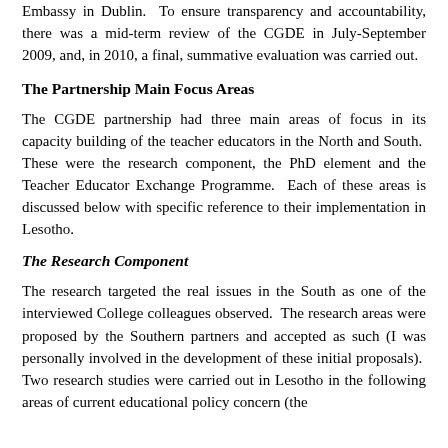Embassy in Dublin.  To ensure transparency and accountability, there was a mid-term review of the CGDE in July-September 2009, and, in 2010, a final, summative evaluation was carried out.
The Partnership Main Focus Areas
The CGDE partnership had three main areas of focus in its capacity building of the teacher educators in the North and South.  These were the research component, the PhD element and the Teacher Educator Exchange Programme.  Each of these areas is discussed below with specific reference to their implementation in Lesotho.
The Research Component
The research targeted the real issues in the South as one of the interviewed College colleagues observed.  The research areas were proposed by the Southern partners and accepted as such (I was personally involved in the development of these initial proposals).  Two research studies were carried out in Lesotho in the following areas of current educational policy concern (the